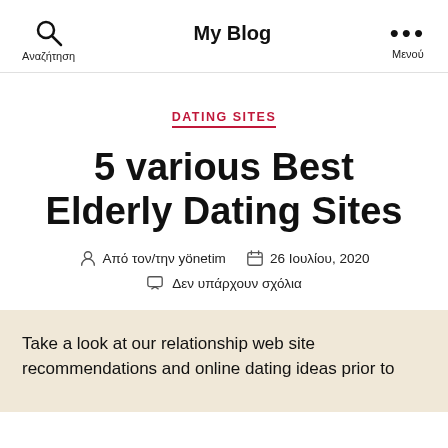My Blog
DATING SITES
5 various Best Elderly Dating Sites
Από τον/την yönetim   26 Ιουλίου, 2020
Δεν υπάρχουν σχόλια
Take a look at our relationship web site recommendations and online dating ideas prior to